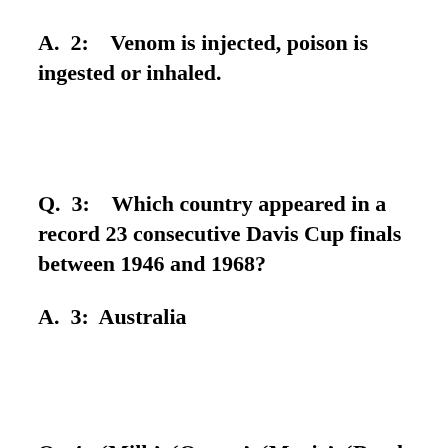A.  2:    Venom is injected, poison is ingested or inhaled.
Q.  3:    Which country appeared in a record 23 consecutive Davis Cup finals between 1946 and 1968?
A.  3:  Australia
Q.  4:  ‘Milk’, ‘Oyster’, ‘Magic’, ‘Death Cap’,